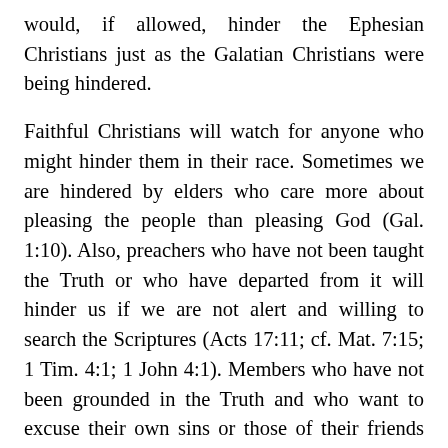would, if allowed, hinder the Ephesian Christians just as the Galatian Christians were being hindered.
Faithful Christians will watch for anyone who might hinder them in their race. Sometimes we are hindered by elders who care more about pleasing the people than pleasing God (Gal. 1:10). Also, preachers who have not been taught the Truth or who have departed from it will hinder us if we are not alert and willing to search the Scriptures (Acts 17:11; cf. Mat. 7:15; 1 Tim. 4:1; 1 John 4:1). Members who have not been grounded in the Truth and who want to excuse their own sins or those of their friends and relatives will hinder us in running the race if we permit them to do so. It is tragic that in some congregations one will not hear the Truth preached concerning such things as fellowship